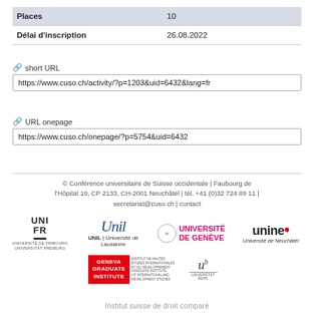| Places | 10 |
| Délai d'inscription | 26.08.2022 |
🔗 short URL
https://www.cuso.ch/activity/?p=1203&uid=6432&lang=fr
🔗 URL onepage
https://www.cuso.ch/onepage/?p=5754&uid=6432
© Conférence universitaire de Suisse occidentale | Faubourg de l'Hôpital 19, CP 2133, CH-2001 Neuchâtel | tél. +41 (0)32 724 89 11 | secretariat@cuso.ch | contact
[Figure (logo): Logos of partner universities: Université de Fribourg, UNIL Université de Lausanne, Université de Genève, Université de Neuchâtel, Geneva Graduate Institute, Université de Bern]
Institut suisse de droit comparé